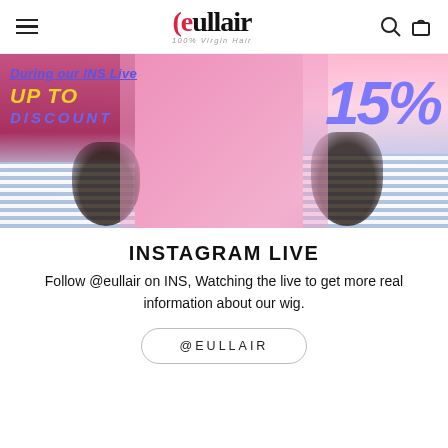eullair — 100% Virgin Hair
[Figure (photo): Promotional banner showing two people from behind wearing striped bottoms, with text overlay: 'During our INS Live UP TO 15% DISCOUNT' on a pink/magenta background]
INSTAGRAM LIVE
Follow @eullair on INS, Watching the live to get more real information about our wig.
@EULLAIR